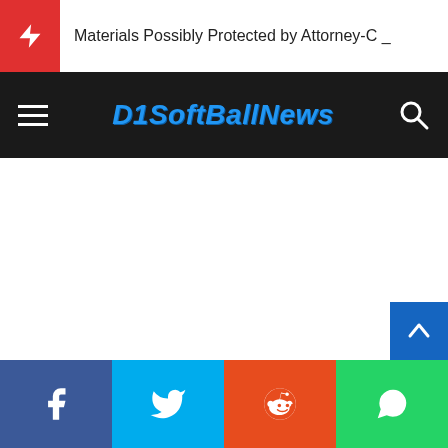Materials Possibly Protected by Attorney-C _
D1SoftBallNews
[Figure (screenshot): White blank content area below navigation bar]
Facebook | Twitter | Reddit | WhatsApp social sharing buttons